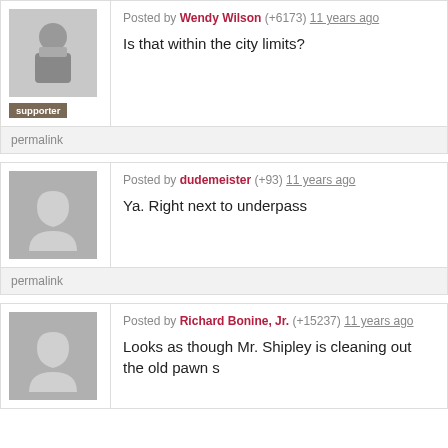Posted by Wendy Wilson (+6173) 11 years ago
Is that within the city limits?
permalink
Posted by dudemeister (+93) 11 years ago
Ya. Right next to underpass
permalink
Posted by Richard Bonine, Jr. (+15237) 11 years ago
Looks as though Mr. Shipley is cleaning out the old pawn s